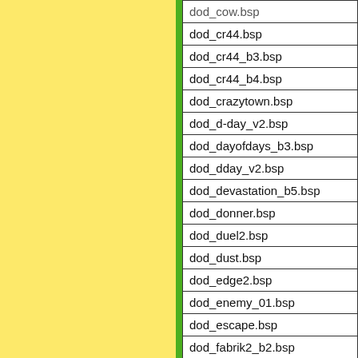| filename |
| --- |
| dod_cow.bsp |
| dod_cr44.bsp |
| dod_cr44_b3.bsp |
| dod_cr44_b4.bsp |
| dod_crazytown.bsp |
| dod_d-day_v2.bsp |
| dod_dayofdays_b3.bsp |
| dod_dday_v2.bsp |
| dod_devastation_b5.bsp |
| dod_donner.bsp |
| dod_duel2.bsp |
| dod_dust.bsp |
| dod_edge2.bsp |
| dod_enemy_01.bsp |
| dod_escape.bsp |
| dod_fabrik2_b2.bsp |
| dod_falaise.bsp |
| dod_feldfeuer.bsp |